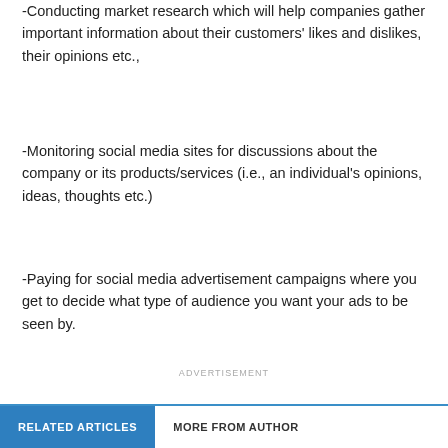-Conducting market research which will help companies gather important information about their customers' likes and dislikes, their opinions etc.,
-Monitoring social media sites for discussions about the company or its products/services (i.e., an individual's opinions, ideas, thoughts etc.)
-Paying for social media advertisement campaigns where you get to decide what type of audience you want your ads to be seen by.
ADVERTISEMENT
RELATED ARTICLES    MORE FROM AUTHOR